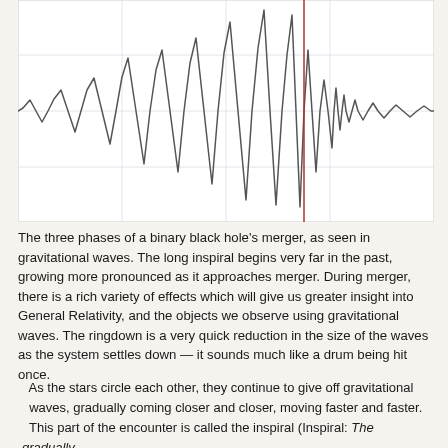[Figure (continuous-plot): Gravitational wave signal showing three phases of a binary black hole merger: inspiral (gradually increasing oscillations), merger (peak amplitude), and ringdown (rapid decay). A vertical red line marks the merger event. The waveform amplitude grows from left to right, peaks sharply, then quickly diminishes.]
The three phases of a binary black hole’s merger, as seen in gravitational waves. The long inspiral begins very far in the past, growing more pronounced as it approaches merger. During merger, there is a rich variety of effects which will give us greater insight into General Relativity, and the objects we observe using gravitational waves. The ringdown is a very quick reduction in the size of the waves as the system settles down — it sounds much like a drum being hit once.
As the stars circle each other, they continue to give off gravitational waves, gradually coming closer and closer, moving faster and faster.
This part of the encounter is called the inspiral (Inspiral: The gradually-shrinking orbit of a binary system. As the pair of stars in the binary orbit each other, they give off energy in the form of gravitational waves